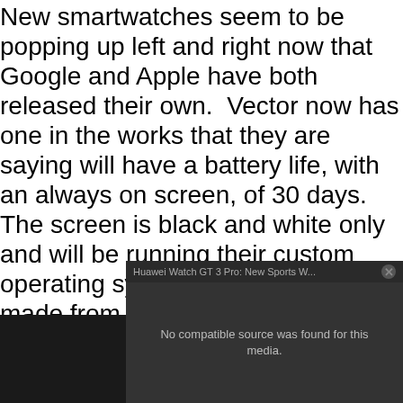New smartwatches seem to be popping up left and right now that Google and Apple have both released their own. Vector now has one in the works that they are saying will have a battery life, with an always on screen, of 30 days. The screen is black and white only and will be running their custom operating system that they have made from scratch which will be designed to pair with either Android, iOS, and even the often left out Windows Phones. With that 30 day usage they are also saying that you can manage that with high intense usage.
[Figure (screenshot): Huawei Watch GT 3 Pro media overlay with 'No compatible source was found for this media.' message on dark background, overlaid on a promotional image showing the Huawei Watch GT 3 Pro with red italic text branding and a smartwatch photo]